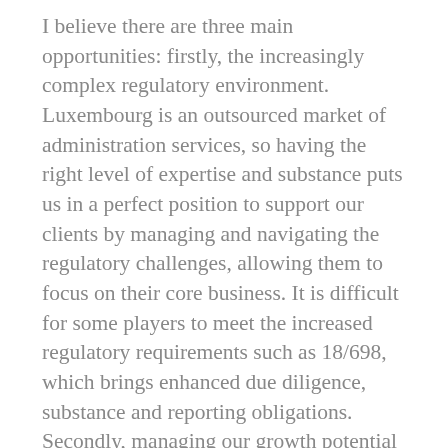I believe there are three main opportunities: firstly, the increasingly complex regulatory environment. Luxembourg is an outsourced market of administration services, so having the right level of expertise and substance puts us in a perfect position to support our clients by managing and navigating the regulatory challenges, allowing them to focus on their core business. It is difficult for some players to meet the increased regulatory requirements such as 18/698, which brings enhanced due diligence, substance and reporting obligations.  Secondly, managing our growth potential with the support and financial strength from our institutional shareholders, while leveraging our proven track record, reputation and strong brand. I believe we are well positioned to service our clients and continue to achieve our growth objectives. We